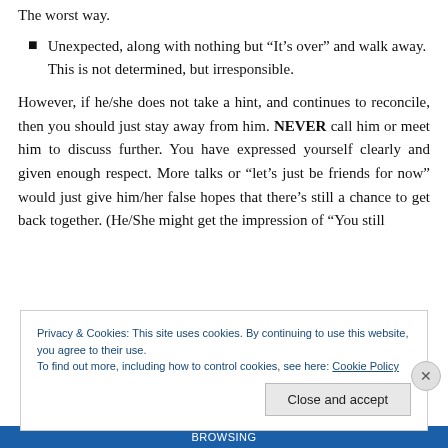The worst way.
Unexpected, along with nothing but “It’s over” and walk away. This is not determined, but irresponsible.
However, if he/she does not take a hint, and continues to reconcile, then you should just stay away from him. NEVER call him or meet him to discuss further. You have expressed yourself clearly and given enough respect. More talks or “let’s just be friends for now” would just give him/her false hopes that there’s still a chance to get back together. (He/She might get the impression of “You still
Privacy & Cookies: This site uses cookies. By continuing to use this website, you agree to their use.
To find out more, including how to control cookies, see here: Cookie Policy
Close and accept